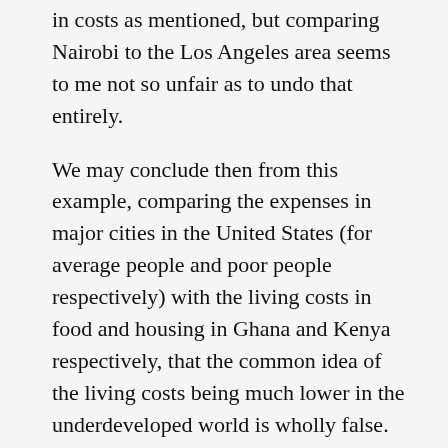in costs as mentioned, but comparing Nairobi to the Los Angeles area seems to me not so unfair as to undo that entirely.
We may conclude then from this example, comparing the expenses in major cities in the United States (for average people and poor people respectively) with the living costs in food and housing in Ghana and Kenya respectively, that the common idea of the living costs being much lower in the underdeveloped world is wholly false. Indeed it makes that appearance because the prices, when valuta are calculated according to exchange values on the market, are indeed significantly lower in the Third World – the bread in Ghana costs one-third of what it does in Boston. However, our naive friends in the developed world forget that the incomes in the